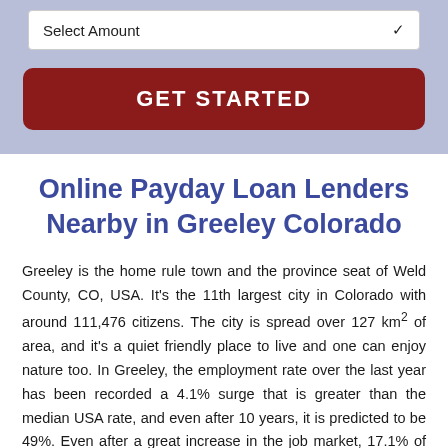[Figure (other): Select Amount dropdown input field with a white background and downward chevron arrow]
[Figure (other): GET STARTED button with dark red/maroon rounded rectangle background and white uppercase bold text]
Online Payday Loan Lenders Nearby in Greeley Colorado
Greeley is the home rule town and the province seat of Weld County, CO, USA. It's the 11th largest city in Colorado with around 111,476 citizens. The city is spread over 127 km² of area, and it's a quiet friendly place to live and one can enjoy nature too. In Greeley, the employment rate over the last year has been recorded a 4.1% surge that is greater than the median USA rate, and even after 10 years, it is predicted to be 49%. Even after a great increase in the job market, 17.1% of people